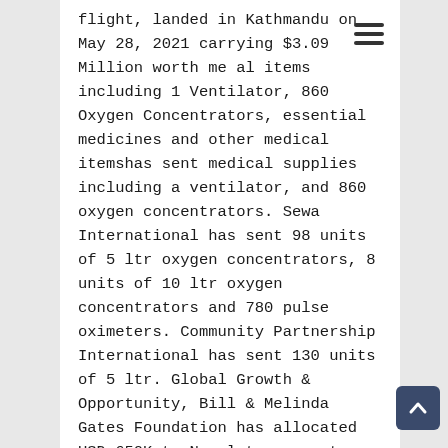flight, landed in Kathmandu on May 28, 2021 carrying $3.09 Million worth medical items including 1 Ventilator, 860 Oxygen Concentrators, essential medicines and other medical itemshas sent medical supplies including a ventilator, and 860 oxygen concentrators. Sewa International has sent 98 units of 5 ltr oxygen concentrators, 8 units of 10 ltr oxygen concentrators and 780 pulse oximeters. Community Partnership International has sent 130 units of 5 ltr. Global Growth & Opportunity, Bill & Melinda Gates Foundation has allocated USD 650K to Nepal to support COVID-19 related efforts.
The Gradian Health Systems from the USA donated 50 ventilators to the National Innovation Center, Nepal. The Society of American Nepalese Nurses (SANN) has paid for the transportation of these ventilators. The NIC coordinated this effort